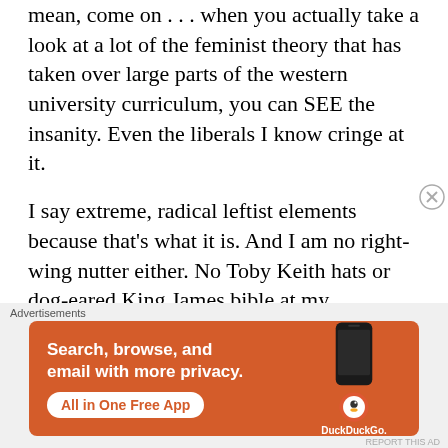mean, come on . . . when you actually take a look at a lot of the feminist theory that has taken over large parts of the western university curriculum, you can SEE the insanity. Even the liberals I know cringe at it.
I say extreme, radical leftist elements because that’s what it is. And I am no right-wing nutter either. No Toby Keith hats or dog-eared King James bible at my
Advertisements
[Figure (infographic): DuckDuckGo advertisement banner with orange background. Text reads: Search, browse, and email with more privacy. All in One Free App. Shows a phone with DuckDuckGo logo.]